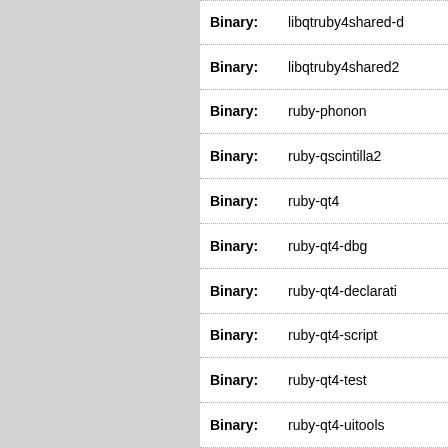| Field | Value |
| --- | --- |
| Binary: | libqtruby4shared-d… |
| Binary: | libqtruby4shared2 |
| Binary: | ruby-phonon |
| Binary: | ruby-qscintilla2 |
| Binary: | ruby-qt4 |
| Binary: | ruby-qt4-dbg |
| Binary: | ruby-qt4-declarati… |
| Binary: | ruby-qt4-script |
| Binary: | ruby-qt4-test |
| Binary: | ruby-qt4-uitools |